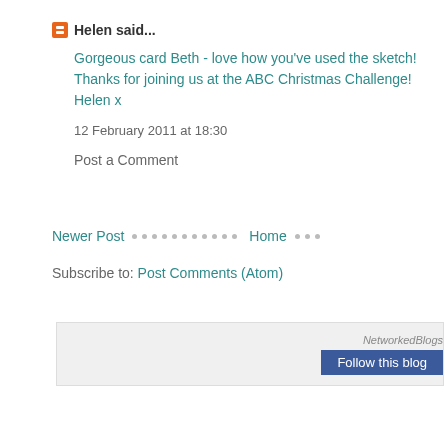Helen said...  Gorgeous card Beth - love how you've used the sketch! Thanks for joining us at the ABC Christmas Challenge! Helen x  12 February 2011 at 18:30
Post a Comment
Newer Post  Home
Subscribe to: Post Comments (Atom)
[Figure (other): NetworkedBlogs widget with Follow this blog button]